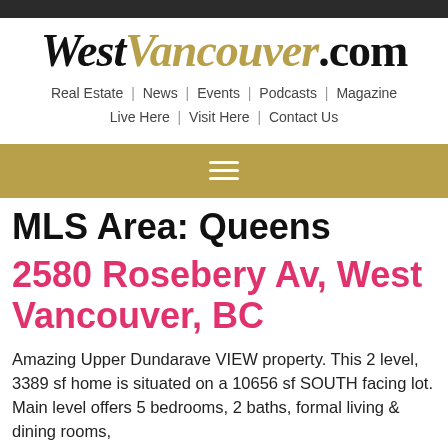WestVancouver.com
Real Estate | News | Events | Podcasts | Magazine | Live Here | Visit Here | Contact Us
[Figure (other): Gold navigation bar with hamburger menu icon (three horizontal white lines)]
MLS Area: Queens
2580 Rosebery Av, West Vancouver, BC
Amazing Upper Dundarave VIEW property. This 2 level, 3389 sf home is situated on a 10656 sf SOUTH facing lot. Main level offers 5 bedrooms, 2 baths, formal living & dining rooms,